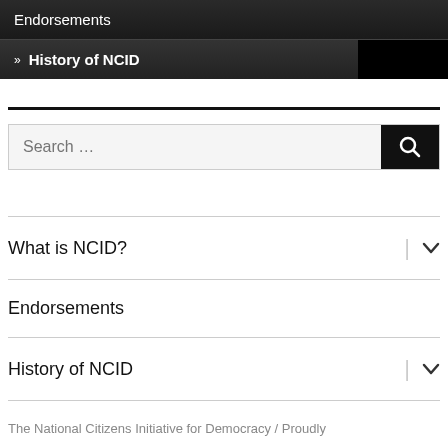Endorsements
» History of NCID
Search …
What is NCID?
Endorsements
History of NCID
The National Citizens Initiative for Democracy / Proudly